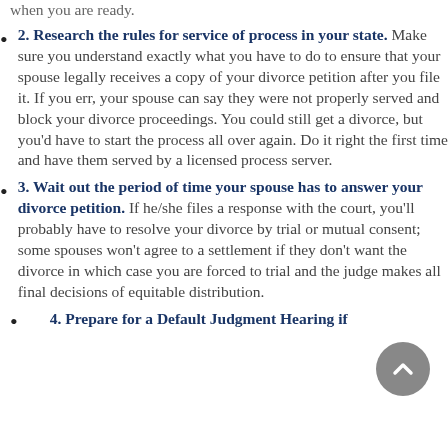when you are ready.
2. Research the rules for service of process in your state. Make sure you understand exactly what you have to do to ensure that your spouse legally receives a copy of your divorce petition after you file it. If you err, your spouse can say they were not properly served and block your divorce proceedings. You could still get a divorce, but you'd have to start the process all over again. Do it right the first time and have them served by a licensed process server.
3. Wait out the period of time your spouse has to answer your divorce petition. If he/she files a response with the court, you'll probably have to resolve your divorce by trial or mutual consent; some spouses won't agree to a settlement if they don't want the divorce in which case you are forced to trial and the judge makes all final decisions of equitable distribution.
4. Prepare for a Default Judgment Hearing if